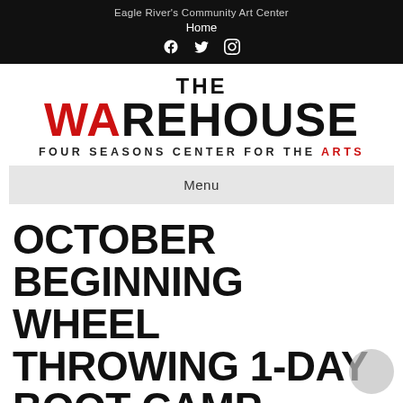Eagle River's Community Art Center
Home
[Figure (logo): THE WAREHOUSE FOUR SEASONS CENTER FOR THE ARTS logo with red A in WAREHOUSE and red ARTS in tagline]
Menu
OCTOBER BEGINNING WHEEL THROWING 1-DAY BOOT CAMP